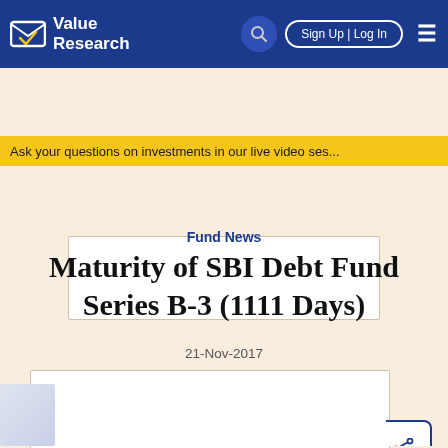Value Research
Ask your questions on investments in our live video ses...
[Figure (other): Advertisement placeholder box]
Fund News
Maturity of SBI Debt Fund Series B-3 (1111 Days)
21-Nov-2017
[Figure (other): Article content area with partial image on left]